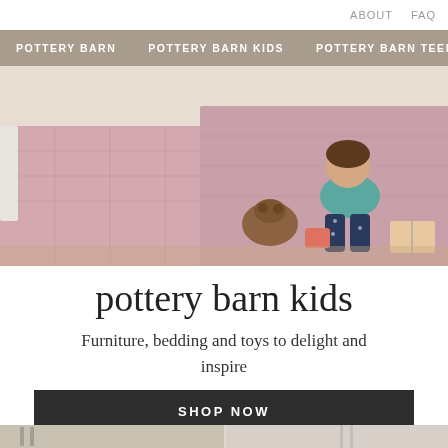ABOUT   FAQ
POTTERY BARN   POTTERY BARN KIDS   POTTERY BARN TEEN   WILL
[Figure (photo): Child sitting on floor in front of pink bedding fort/blanket tent, with stuffed animals and books scattered around, warm wood floor visible]
pottery barn kids
Furniture, bedding and toys to delight and inspire
SHOP NOW
[Figure (photo): Bottom strip preview of room interior photos]